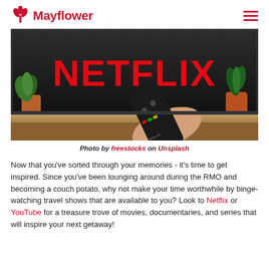Mayflower
[Figure (photo): A hand holding a Panasonic TV remote pointed at a screen showing the Netflix logo in large orange letters, with potted plants on a wooden shelf in the background.]
Photo by freestocks on Unsplash
Now that you've sorted through your memories - it's time to get inspired. Since you've been lounging around during the RMO and becoming a couch potato, why not make your time worthwhile by binge-watching travel shows that are available to you? Look to Netflix or YouTube for a treasure trove of movies, documentaries, and series that will inspire your next getaway!